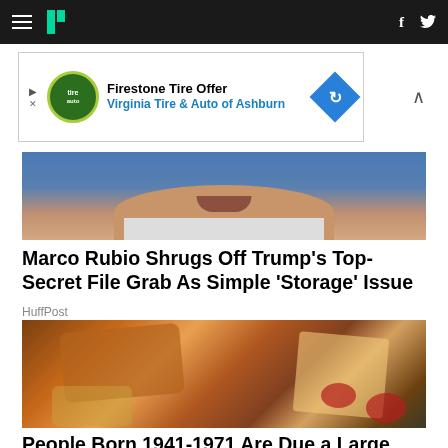HuffPost navigation bar with hamburger menu, logo, Facebook and Twitter icons
[Figure (infographic): Ad banner: Firestone Tire Offer - Virginia Tire & Auto of Ashburn]
[Figure (photo): Cropped photo of a man's lower face and chin, blue background, white collar visible]
Marco Rubio Shrugs Off Trump's Top-Secret File Grab As Simple 'Storage' Issue
HuffPost
[Figure (photo): Photo of a hand holding a burger with fries and dipping sauces on a fast food tray]
People Born 1941-1971 Are Due a Large